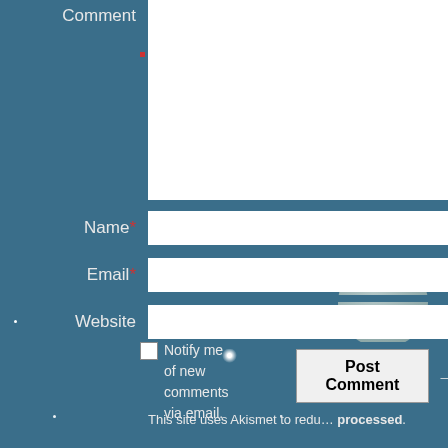[Figure (screenshot): Web comment form on a space-themed background with stars and planets. Fields shown: Comment (textarea), Name (required), Email (required), Website. Post Comment button. Two checkboxes: Notify me of new comments via email, Notify me of new posts via email. Akismet spam notice. Background is teal-blue with decorative planets and stars.]
Comment
Name *
Email *
Website
Post Comment
Notify me of new comments via email.
Notify me of new posts via email.
This site uses Akismet to reduce processed.